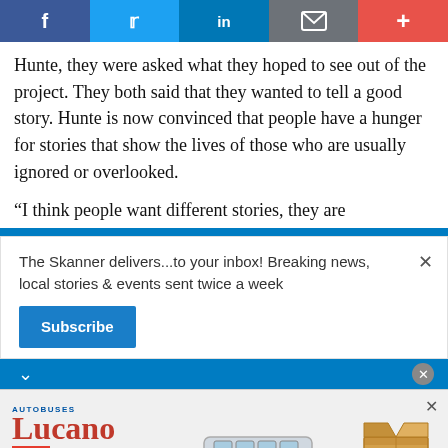[Figure (other): Social media sharing bar with Facebook, Twitter, LinkedIn, email, and plus buttons]
Hunte, they were asked what they hoped to see out of the project. They both said that they wanted to tell a good story. Hunte is now convinced that people have a hunger for stories that show the lives of those who are usually ignored or overlooked.

“I think people want different stories, they are
The Skanner delivers...to your inbox! Breaking news, local stories & events sent twice a week
Subscribe
[Figure (other): Autobuses Lucano advertisement with bus image and boxes, phone number 832-798-9608, Servicio de Paqueteria]